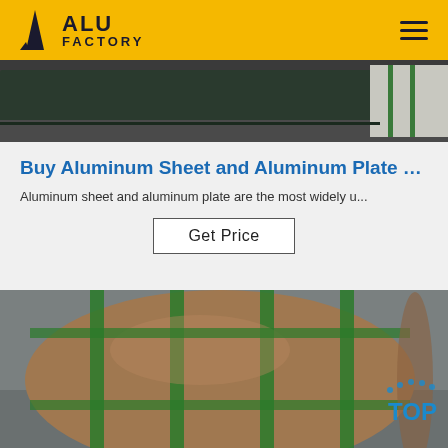ALU FACTORY
[Figure (photo): Aluminum sheet/plate stored in a warehouse, dark surface visible with packaging on right side]
Buy Aluminum Sheet and Aluminum Plate …
Aluminum sheet and aluminum plate are the most widely u...
Get Price
[Figure (photo): Large roll of aluminum coil wrapped in brown paper with green strapping bands, sitting on warehouse floor. TOP badge visible in lower right corner.]